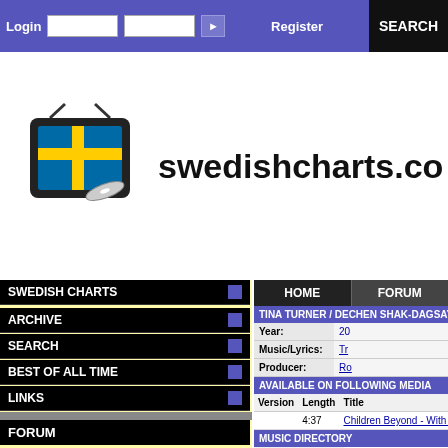Login | Register | SEARCH
[Figure (logo): Swedishcharts.com logo with Swedish flag TV icon]
swedishcharts.co
SWEDISH CHARTS
ARCHIVE
SEARCH
BEST OF ALL TIME
LINKS
FORUM
Lyrics request
Swedish Electro Songs ?
Music of Sweden
Selecting a B2B Telemarketing Company
Chart Positions Pre 1976
| HOME | FORUM |
| --- | --- |
TINA TURNER / DECHEN SHAK-DAGSAY / REG...
| Field | Value |
| --- | --- |
| Year: | 20... |
| Music/Lyrics: | Tr... |
| Producer: | Ro... |
AVAILABLE ON FOLLOWING MEDIA
| Version | Length | Title |
| --- | --- | --- |
|  | 4:37 | Children Beyond - With Child... |
MUSIC DIRECTORY
| Artist | Links |
| --- | --- |
| Tina Turner | Tina Turner: Official Site |
| Dechen Shak-Dagsay | Dechen Sha... |
| Regula Curti | Regula Cur... |
TINA TURNER IN SWEDISH CHARTS
Singles
Title